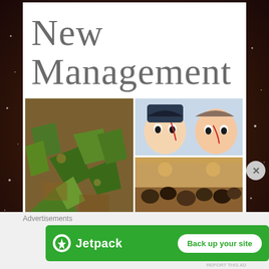New Management
[Figure (photo): Collage of four images: broken green glass on ground (top-left large), two anime characters with blood on faces (top-right), an anime villain smile sketch (bottom-left), people in a crowded restaurant scene (bottom-right)]
Advertisements
[Figure (infographic): Jetpack advertisement banner in green with Jetpack logo and lightning bolt icon on left, and 'Back up your site' white button on right]